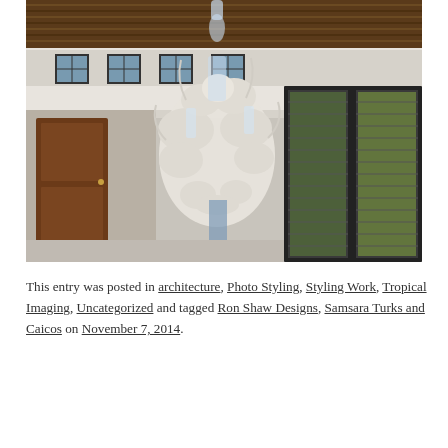[Figure (photo): Interior photo of a luxury villa showing a large white coral chandelier hanging from a high wooden ceiling. The room has white walls, dark-framed windows with shutters, and a wooden door visible in the background.]
This entry was posted in architecture, Photo Styling, Styling Work, Tropical Imaging, Uncategorized and tagged Ron Shaw Designs, Samsara Turks and Caicos on November 7, 2014.